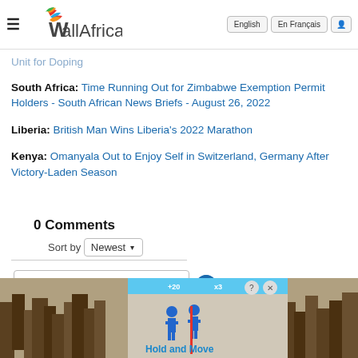allAfrica — with language buttons English, En Français, and user icon
Unit for Doping
South Africa: Time Running Out for Zimbabwe Exemption Permit Holders - South African News Briefs - August 26, 2022
Liberia: British Man Wins Liberia's 2022 Marathon
Kenya: Omanyala Out to Enjoy Self in Switzerland, Germany After Victory-Laden Season
0 Comments
Sort by Newest
Add a comment
[Figure (screenshot): Advertisement banner with game UI showing 'Hold and Move' game, with blue top bar, figure icons, close and help buttons]